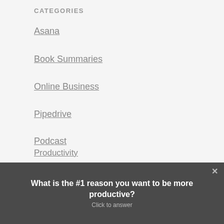CATEGORIES
Asana
Book Summaries
Online Business
Pipedrive
Podcast
Productivity
Self-Improvement
Technology
What is the #1 reason you want to be more productive?
Click to answer